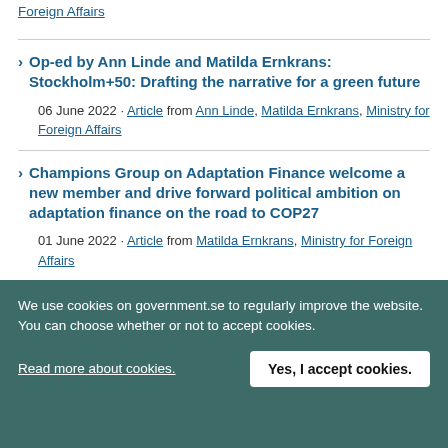Foreign Affairs
Op-ed by Ann Linde and Matilda Ernkrans: Stockholm+50: Drafting the narrative for a green future
06 June 2022 · Article from Ann Linde, Matilda Ernkrans, Ministry for Foreign Affairs
Champions Group on Adaptation Finance welcome a new member and drive forward political ambition on adaptation finance on the road to COP27
01 June 2022 · Article from Matilda Ernkrans, Ministry for Foreign Affairs
We use cookies on government.se to regularly improve the website. You can choose whether or not to accept cookies.
Read more about cookies.